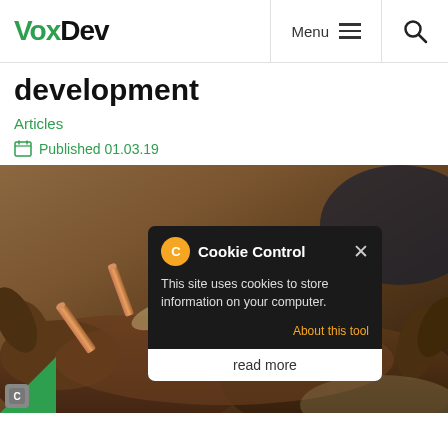VoxDev
development
Articles
Published 01.03.19
[Figure (photo): Hands holding bullet casings and paper, with a Cookie Control popup overlay showing 'This site uses cookies to store information on your computer.' and an 'About this tool' link. A 'read more' bar appears below the popup. A green cookie icon is in the bottom-left corner.]